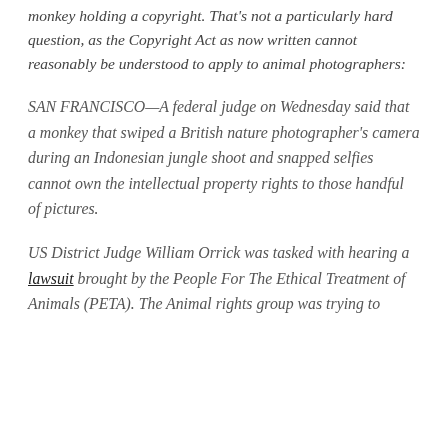monkey holding a copyright. That's not a particularly hard question, as the Copyright Act as now written cannot reasonably be understood to apply to animal photographers:
SAN FRANCISCO—A federal judge on Wednesday said that a monkey that swiped a British nature photographer's camera during an Indonesian jungle shoot and snapped selfies cannot own the intellectual property rights to those handful of pictures.
US District Judge William Orrick was tasked with hearing a lawsuit brought by the People For The Ethical Treatment of Animals (PETA). The Animal rights group was trying to